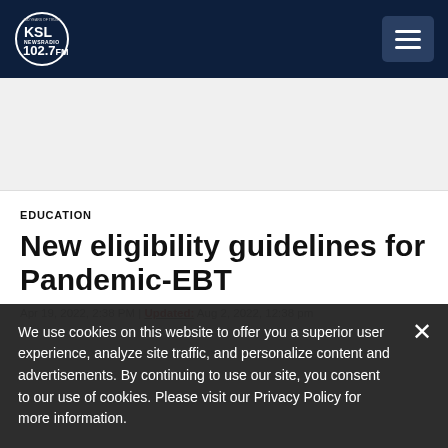KSL NewsRadio 102.7FM
[Figure (logo): KSL NewsRadio 102.7FM logo — circular logo with KSL text and 100 years of trust tagline]
EDUCATION
New eligibility guidelines for Pandemic-EBT
Apr 19, 2022, 2:38 PM | Updated: Aug 2, 2022, 12:38 pm
We use cookies on this website to offer you a superior user experience, analyze site traffic, and personalize content and advertisements. By continuing to use our site, you consent to our use of cookies. Please visit our Privacy Policy for more information.